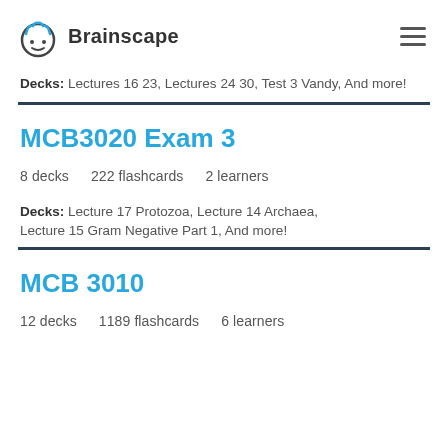Brainscape
Decks: Lectures 16 23, Lectures 24 30, Test 3 Vandy, And more!
MCB3020 Exam 3
8 decks   222 flashcards   2 learners
Decks: Lecture 17 Protozoa, Lecture 14 Archaea, Lecture 15 Gram Negative Part 1, And more!
MCB 3010
12 decks   1189 flashcards   6 learners